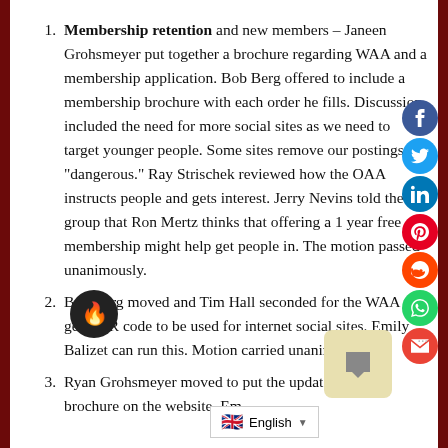Membership retention and new members – Janeen Grohsmeyer put together a brochure regarding WAA and a membership application. Bob Berg offered to include a membership brochure with each order he fills. Discussion included the need for more social sites as we need to target younger people. Some sites remove our postings as "dangerous." Ray Strischek reviewed how the OAA instructs people and gets interest. Jerry Nevins told the group that Ron Mertz thinks that offering a 1 year free membership might help get people in. The motion passed unanimously.
Bob Berg moved and Tim Hall seconded for the WAA to get a QR code to be used for internet social sites. Emily Balizet can run this. Motion carried unanimously.
Ryan Grohsmeyer moved to put the updated WAA brochure on the website. Em…